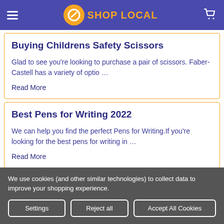SHOP LOCAL
Buying Childrens Safety Scissors
Glad to see you're looking to purchase a pair of scissors. Faber-Castell has a variety of optio …
Read More
Best Pens for Writing 2022
We can help you find the perfect Pens for Writing.If you're looking for the best pens for writing in …
Read More
We use cookies (and other similar technologies) to collect data to improve your shopping experience.